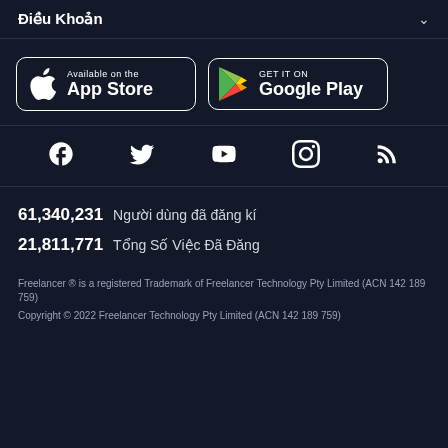Điều Khoản
[Figure (logo): App Store and Google Play store download buttons]
[Figure (logo): Social media icons: Facebook, Twitter, YouTube, Instagram, RSS]
61,340,231  Người dùng đã đăng kí
21,811,771  Tổng Số Việc Đã Đăng
Freelancer ® is a registered Trademark of Freelancer Technology Pty Limited (ACN 142 189 759)
Copyright © 2022 Freelancer Technology Pty Limited (ACN 142 189 759)